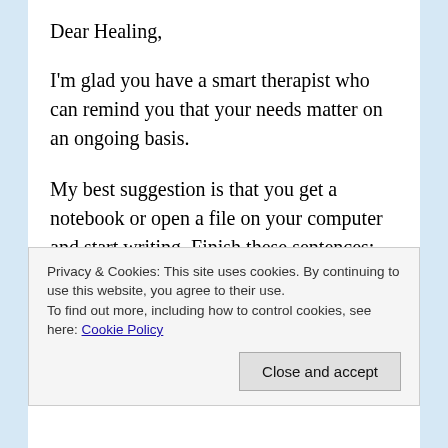Dear Healing,
I'm glad you have a smart therapist who can remind you that your needs matter on an ongoing basis.
My best suggestion is that you get a notebook or open a file on your computer and start writing. Finish these sentences:
"In a perfect world, when I see my parents we would..."
Privacy & Cookies: This site uses cookies. By continuing to use this website, you agree to their use.
To find out more, including how to control cookies, see here: Cookie Policy